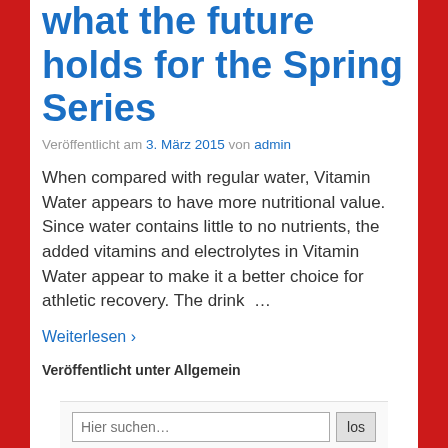Yeah, I don't know what the future holds for the Spring Series
Veröffentlicht am 3. März 2015 von admin
When compared with regular water, Vitamin Water appears to have more nutritional value. Since water contains little to no nutrients, the added vitamins and electrolytes in Vitamin Water appear to make it a better choice for athletic recovery. The drink  …
Weiterlesen ›
Veröffentlicht unter Allgemein